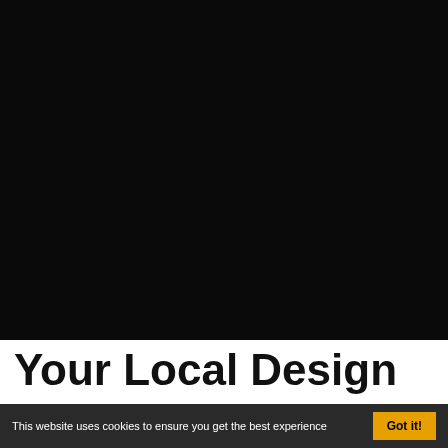[Figure (infographic): Four service icons on black background: WEB DESIGN (monitor with code), SEO (monitor with eye and magnifier), GRAPHICS (lightbulb with paper plane), PRINTING (design layout with ruler)]
WEB DESIGN
SEO
GRAPHICS
PRINTING
Your Local Design
This website uses cookies to ensure you get the best experience